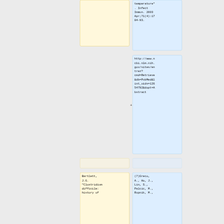temperature". Infect Immun. 2003 Apr;71(4):1784-93.
http://www.ncbi.nlm.nih.gov/sites/entrez?cmd=Retrieve&db=PubMed&list_uids=12654792&dopt=Abstract
Bartlett, J.G. "Clostridium difficile: history of
(7)Greco, A., Ho, J., Lin, S., Palcic, M., Rupnik, M.,